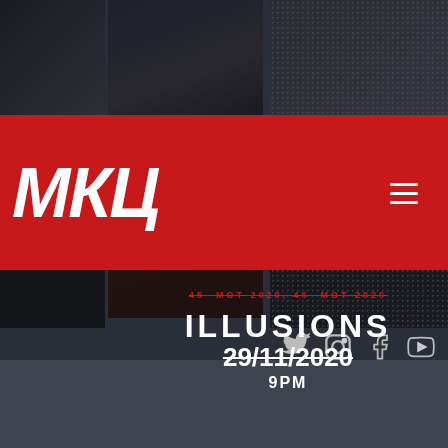[Figure (photo): Website screenshot showing МКЦ cultural center page with photo collage background of people, red header bar with Cyrillic МКЦ logo, hamburger menu, social media icons (Twitter, Instagram, Facebook, YouTube), and event announcement for ILLUSIONS on 29/11/2020 at 9PM with strikethrough date]
МКЦ
45 МОТ 2020, 46 МОТ 2020
ILLUSIONS
29/11/2020
9PM